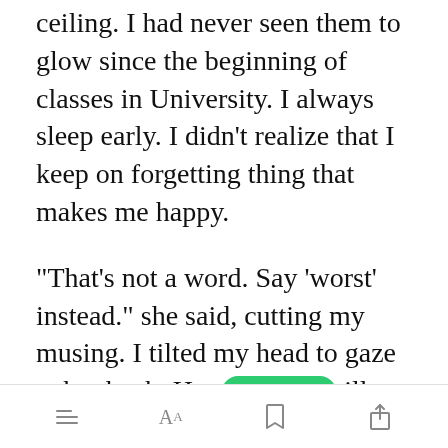ceiling. I had never seen them to glow since the beginning of classes in University. I always sleep early. I didn't realize that I keep on forgetting thing that makes me happy.
"That's not a word. Say 'worst' instead." she said, cutting my musing. I tilted my head to gaze at her back. Her [Open in app] till fixed on the TV. What must be that show that
[menu icon] [font size icon] [bookmark icon] [share icon]